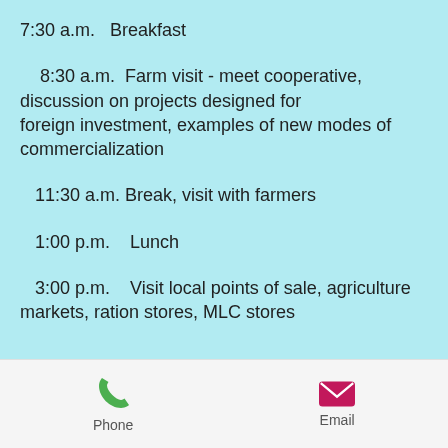7:30 a.m.   Breakfast
8:30 a.m.  Farm visit - meet cooperative, discussion on projects designed for foreign investment, examples of new modes of commercialization
11:30 a.m. Break, visit with farmers
1:00 p.m.    Lunch
3:00 p.m.    Visit local points of sale, agriculture markets, ration stores, MLC stores
Phone   Email